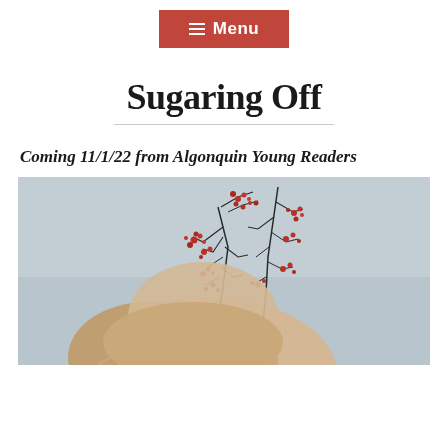Menu
Sugaring Off
Coming 11/1/22 from Algonquin Young Readers
[Figure (photo): A person with blonde hair and red floral branches arranged around their head, against a light grey background — appears to be a book cover photo.]